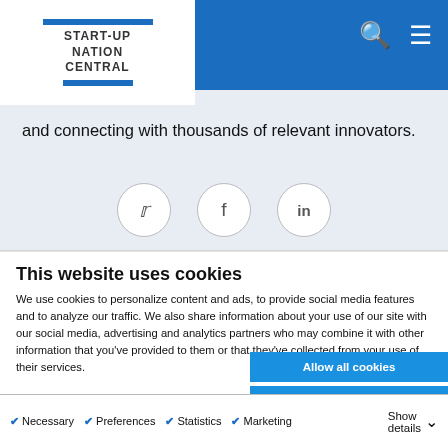START-UP NATION CENTRAL
and connecting with thousands of relevant innovators.
[Figure (infographic): Social sharing icons: Twitter, Facebook, LinkedIn in circular borders]
This website uses cookies
We use cookies to personalize content and ads, to provide social media features and to analyze our traffic. We also share information about your use of our site with our social media, advertising and analytics partners who may combine it with other information that you've provided to them or that they've collected from your use of their services.
Allow all cookies
Allow selection
Use necessary cookies only
✔ Necessary  ✔ Preferences  ✔ Statistics  ✔ Marketing  Show details ▼